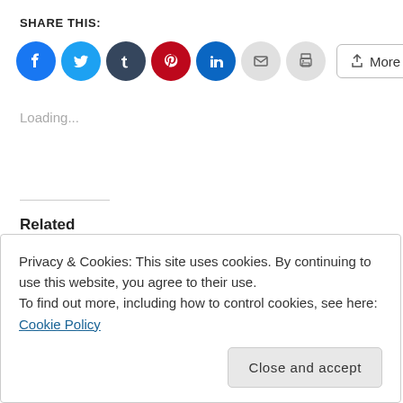SHARE THIS:
[Figure (infographic): Row of social share buttons: Facebook (blue circle), Twitter (light blue circle), Tumblr (dark blue-grey circle), Pinterest (red circle), LinkedIn (blue circle), Email (grey circle), Print (grey circle), and a rectangular 'More' button with share icon]
Loading...
Related
interNational Novel Writing Month
October 20, 2011
New ideas… new stories
January 2, 2012
In "The Writer's Way"
Privacy & Cookies: This site uses cookies. By continuing to use this website, you agree to their use.
To find out more, including how to control cookies, see here: Cookie Policy
Close and accept